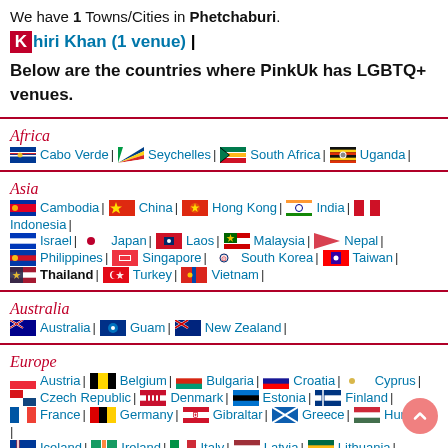We have 1 Towns/Cities in Phetchaburi.
Khiri Khan (1 venue) |
Below are the countries where PinkUk has LGBTQ+ venues.
Africa
Cabo Verde | Seychelles | South Africa | Uganda |
Asia
Cambodia | China | Hong Kong | India | Indonesia | Israel | Japan | Laos | Malaysia | Nepal | Philippines | Singapore | South Korea | Taiwan | Thailand | Turkey | Vietnam |
Australia
Australia | Guam | New Zealand |
Europe
Austria | Belgium | Bulgaria | Croatia | Cyprus | Czech Republic | Denmark | Estonia | Finland | France | Germany | Gibraltar | Greece | Hungary | Iceland | Ireland | Italy | Latvia | Lithuania |